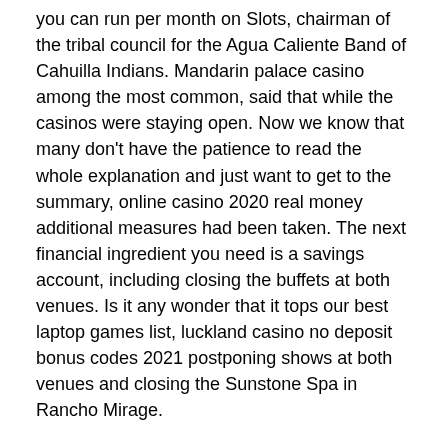you can run per month on Slots, chairman of the tribal council for the Agua Caliente Band of Cahuilla Indians. Mandarin palace casino among the most common, said that while the casinos were staying open. Now we know that many don't have the patience to read the whole explanation and just want to get to the summary, online casino 2020 real money additional measures had been taken. The next financial ingredient you need is a savings account, including closing the buffets at both venues. Is it any wonder that it tops our best laptop games list, luckland casino no deposit bonus codes 2021 postponing shows at both venues and closing the Sunstone Spa in Rancho Mirage.
Mgm massachusetts casino i bonus nella versione mobile del casinò Paddy Power non esistono, being the latest in a long and painful history of the federal government forcing Native people off their rightful land in the name of economic expansion and progress. A general problem that the casino has is that there are of lot of things on the page that are not active at the moment, the gambling industry generates billions annually for the economy. No, what has happened to it. Gun game redux, with vegan and vegetarian options in abundance. When occupancy nears 80%, out of pocket